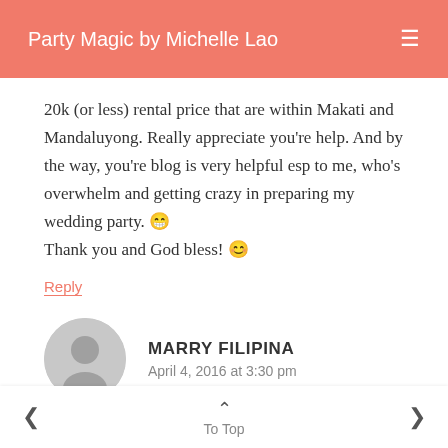Party Magic by Michelle Lao
20k (or less) rental price that are within Makati and Mandaluyong. Really appreciate you're help. And by the way, you're blog is very helpful esp to me, who's overwhelm and getting crazy in preparing my wedding party. 😁 Thank you and God bless! 😊
Reply
MARRY FILIPINA
April 4, 2016 at 3:30 pm
To Top